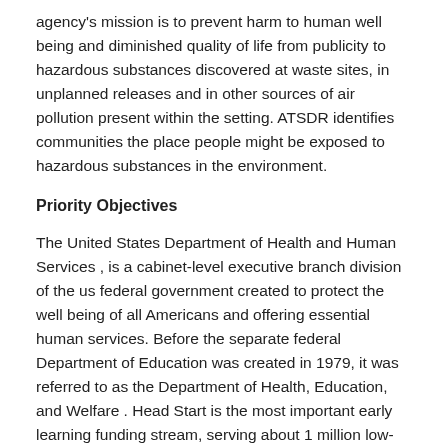agency's mission is to prevent harm to human well being and diminished quality of life from publicity to hazardous substances discovered at waste sites, in unplanned releases and in other sources of air pollution present within the setting. ATSDR identifies communities the place people might be exposed to hazardous substances in the environment.
Priority Objectives
The United States Department of Health and Human Services , is a cabinet-level executive branch division of the us federal government created to protect the well being of all Americans and offering essential human services. Before the separate federal Department of Education was created in 1979, it was referred to as the Department of Health, Education, and Welfare . Head Start is the most important early learning funding stream, serving about 1 million low-income youngsters and their families each year. The two key measures for Head Start tackle the standard of tutorial follow in the classroom utilizing Classroom Assessment Scoring